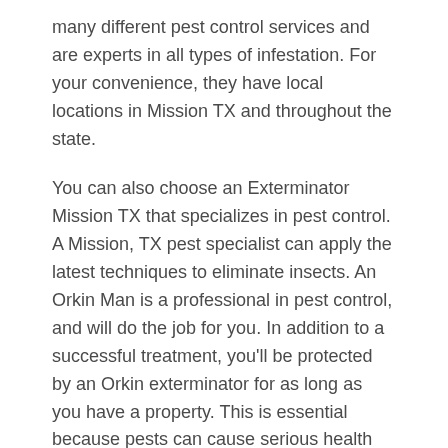many different pest control services and are experts in all types of infestation. For your convenience, they have local locations in Mission TX and throughout the state.
You can also choose an Exterminator Mission TX that specializes in pest control. A Mission, TX pest specialist can apply the latest techniques to eliminate insects. An Orkin Man is a professional in pest control, and will do the job for you. In addition to a successful treatment, you'll be protected by an Orkin exterminator for as long as you have a property. This is essential because pests can cause serious health risks.
If you're looking for a Mission, TX exterminator services are available in the area. A local exterminator can provide the right solutions for your home. A local exterminator will ensure that the problem is resolved and that you and your home are safe from insects. They will treat the infestations for you, ensuring that you're protected from any future invasions. The